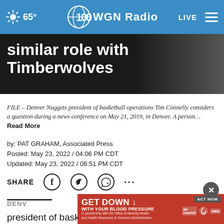65° WGN Radio LIVE
similar role with Timberwolves
FILE – Denver Nuggets president of basketball operations Tim Connelly considers a question during a news conference on May 21, 2019, in Denver. A person…
Read More
by: PAT GRAHAM, Associated Press
Posted: May 23, 2022 / 04:06 PM CDT
Updated: May 23, 2022 / 06:51 PM CDT
SHARE
DENV
president of basketball operations of the Denver
[Figure (screenshot): GET DOWN WITH YOUR BLOOD PRESSURE advertisement banner with ACT NOW button, ad council and AMA logos]